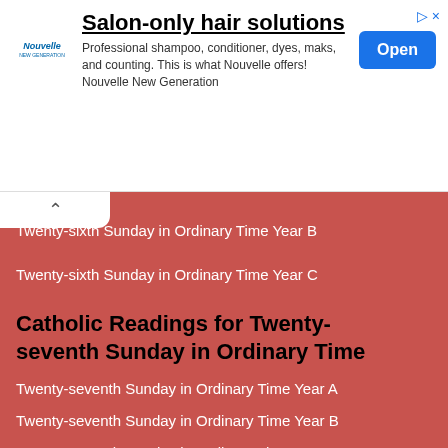[Figure (advertisement): Nouvelle salon-only hair solutions advertisement with logo, text, and Open button]
Twenty-sixth Sunday in Ordinary Time Year B
Twenty-sixth Sunday in Ordinary Time Year C
Catholic Readings for Twenty-seventh Sunday in Ordinary Time
Twenty-seventh Sunday in Ordinary Time Year A
Twenty-seventh Sunday in Ordinary Time Year B
Twenty-seventh Sunday in Ordinary Time Year C
Catholic Readings for Twenty-eighth Sunday in Ordinary Time